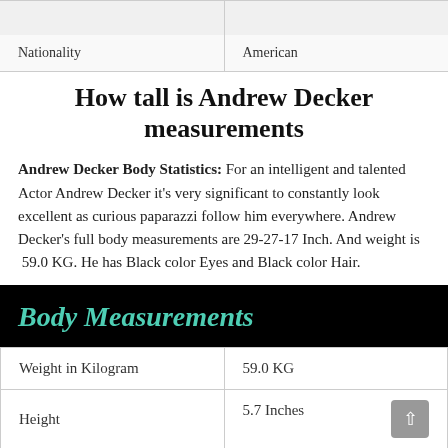|  |  |
| Nationality | American |
How tall is Andrew Decker measurements
Andrew Decker Body Statistics: For an intelligent and talented Actor Andrew Decker it's very significant to constantly look excellent as curious paparazzi follow him everywhere. Andrew Decker's full body measurements are 29-27-17 Inch. And weight is 59.0 KG. He has Black color Eyes and Black color Hair.
| Body Measurements |  |
| --- | --- |
| Weight in Kilogram | 59.0 KG |
| Height | 5.7 Inches |
| Body Size | 29-27-17 Inch |